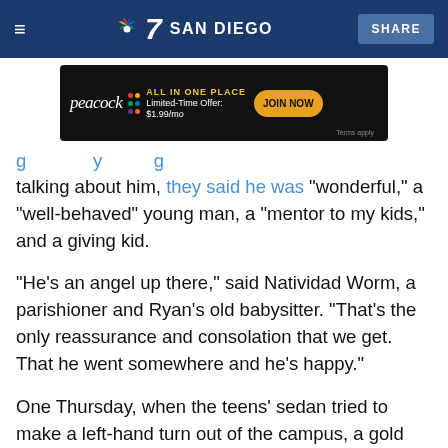7 NBC SAN DIEGO — SHARE
[Figure (other): Peacock streaming service advertisement banner: ALL IN ONE PLACE, Limited-Time Offer: $1.99/mo, JOIN NOW, Terms apply]
talking about him, they said he was "wonderful," a "well-behaved" young man, a "mentor to my kids," and a giving kid.
"He's an angel up there," said Natividad Worm, a parishioner and Ryan's old babysitter. "That's the only reassurance and consolation that we get. That he went somewhere and he's happy."
One Thursday, when the teens' sedan tried to make a left-hand turn out of the campus, a gold Ford Explorer T-boned the car, officials said. The Explorer and sedan collided with such force, the sedan then backed into another truck waiting